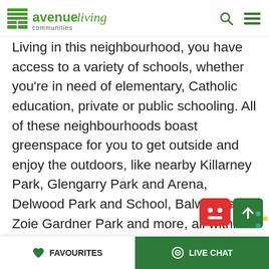avenue living communities
Living in this neighbourhood, you have access to a variety of schools, whether you're in need of elementary, Catholic education, private or public schooling. All of these neighbourhoods boast greenspace for you to get outside and enjoy the outdoors, like nearby Killarney Park, Glengarry Park and Arena, Delwood Park and School, Balwin Park, Zoie Gardner Park and more, all within walking distance — if you're up for it.
Now let m to both